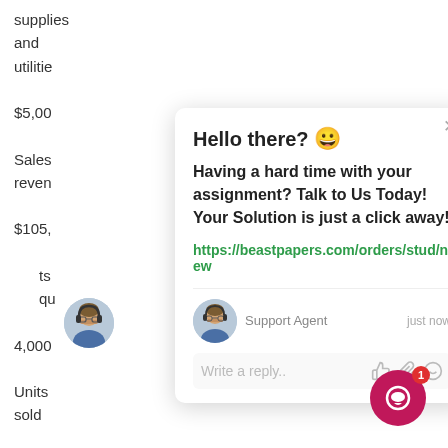supplies
and
utilitie
$5,00
Sales
reven
$105,
ts
qu
4,000
Units
sold
4,000
KSCC's
Hello there? 😀 Having a hard time with your assignment? Talk to Us Today! Your Solution is just a click away!
https://beastpapers.com/orders/stud/new
Support Agent   just now
Write a reply..